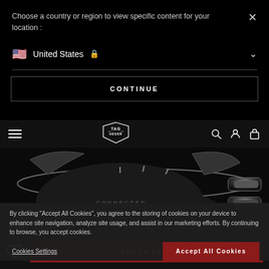Choose a country or region to view specific content for your location :
United States
CONTINUE
[Figure (logo): TAG Heuer logo in shield shape]
[Figure (photo): Close-up of TAG Heuer Connected watch crown and case in dark lighting]
By clicking "Accept All Cookies", you agree to the storing of cookies on your device to enhance site navigation, analyze site usage, and assist in our marketing efforts. By continuing to browse, you accept cookies.
TAG HEUER CONNECTED
kr 15,800.00
Cookies Settings
Accept All Cookies
ADD TO CART